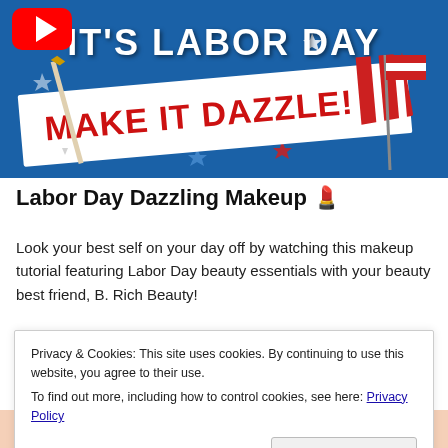[Figure (screenshot): YouTube video thumbnail showing a Labor Day makeup tutorial. Dark teal/blue background with text 'IT'S LABOR DAY' in white and 'MAKE IT DAZZLE!' in red bold letters on a white banner. Red, white and blue stars and decorations. YouTube logo icon in top-left corner.]
Labor Day Dazzling Makeup 💄
Look your best self on your day off by watching this makeup tutorial featuring Labor Day beauty essentials with your beauty best friend, B. Rich Beauty!
Privacy & Cookies: This site uses cookies. By continuing to use this website, you agree to their use.
To find out more, including how to control cookies, see here: Privacy Policy
Close and accept
[Figure (photo): Bottom portion of a person's face visible at the very bottom of the page, appearing to be a makeup tutorial subject.]